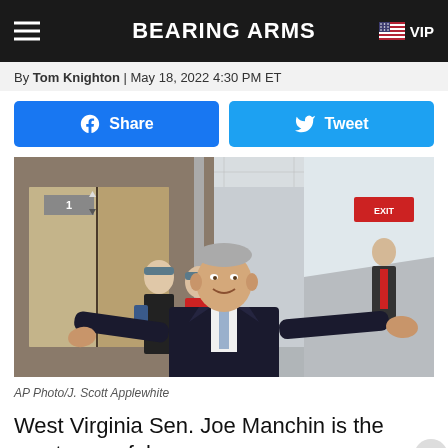BEARING ARMS — VIP
By Tom Knighton | May 18, 2022 4:30 PM ET
[Figure (infographic): Facebook Share and Twitter Tweet social sharing buttons]
[Figure (photo): AP Photo of West Virginia Senator Joe Manchin with arms spread wide in a hallway, with masked reporters behind him and a staff member in the background]
AP Photo/J. Scott Applewhite
West Virginia Sen. Joe Manchin is the most powerful